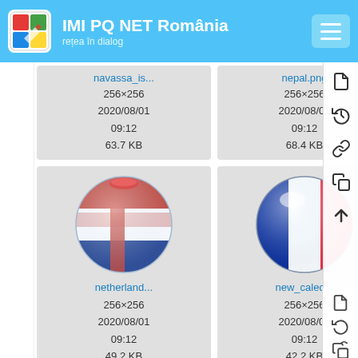IMI PQ NET România – rețea în dialog
[Figure (screenshot): File grid showing flag image files: navassa_is… (256×256, 2020/08/01 09:12, 63.7 KB), nepal.png (256×256, 2020/08/01 09:12, 68.4 KB), nether… (256×, 2020/…, 34.x KB), netherlands… (256×256, 2020/08/01 09:12, 49.2 KB) with Netherlands flag globe icon, new_caled… (256×256, 2020/08/01 09:12, 42.2 KB) with France flag globe icon, ne… (256x, 2020/…, 69.x KB), and two more partial cards at bottom]
navassa_is...
256×256
2020/08/01
09:12
63.7 KB
nepal.png
256×256
2020/08/01
09:12
68.4 KB
nether...
256
2020/
09
34.
netherland...
256×256
2020/08/01
09:12
49.2 KB
new_caled...
256×256
2020/08/01
09:12
42.2 KB
ne...
256
2020/
09
69.